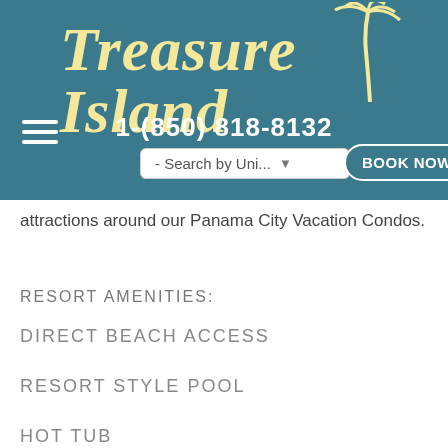Treasure Island 1-(850) 818-8132
attractions around our Panama City Vacation Condos.
RESORT AMENITIES:
DIRECT BEACH ACCESS
RESORT STYLE POOL
HOT TUB